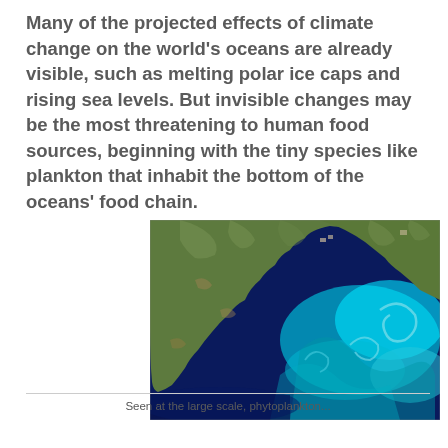Many of the projected effects of climate change on the world's oceans are already visible, such as melting polar ice caps and rising sea levels. But invisible changes may be the most threatening to human food sources, beginning with the tiny species like plankton that inhabit the bottom of the oceans' food chain.
[Figure (photo): Satellite image of a peninsula (likely Cornwall, UK) surrounded by deep blue ocean with swirling cyan/turquoise patterns indicating a phytoplankton bloom. The land shows green and brown terrain contrasting with the vivid blue-cyan ocean.]
Seen at the large scale, phytoplankton...